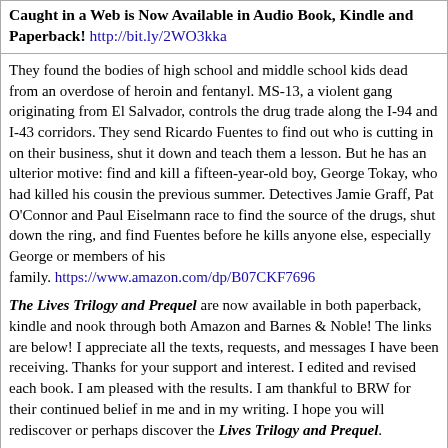Caught in a Web is Now Available in Audio Book, Kindle and Paperback! http://bit.ly/2WO3kka
They found the bodies of high school and middle school kids dead from an overdose of heroin and fentanyl. MS-13, a violent gang originating from El Salvador, controls the drug trade along the I-94 and I-43 corridors. They send Ricardo Fuentes to find out who is cutting in on their business, shut it down and teach them a lesson. But he has an ulterior motive: find and kill a fifteen-year-old boy, George Tokay, who had killed his cousin the previous summer. Detectives Jamie Graff, Pat O'Connor and Paul Eiselmann race to find the source of the drugs, shut down the ring, and find Fuentes before he kills anyone else, especially George or members of his family. https://www.amazon.com/dp/B07CKF7696
The Lives Trilogy and Prequel are now available in both paperback, kindle and nook through both Amazon and Barnes & Noble! The links are below! I appreciate all the texts, requests, and messages I have been receiving. Thanks for your support and interest. I edited and revised each book. I am pleased with the results. I am thankful to BRW for their continued belief in me and in my writing. I hope you will rediscover or perhaps discover the Lives Trilogy and Prequel.
The Lives Trilogy and Prequel Taking Li...